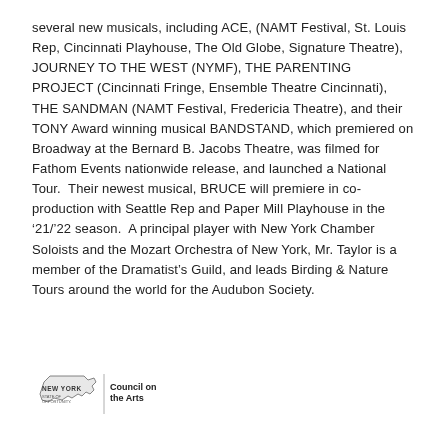several new musicals, including ACE, (NAMT Festival, St. Louis Rep, Cincinnati Playhouse, The Old Globe, Signature Theatre), JOURNEY TO THE WEST (NYMF), THE PARENTING PROJECT (Cincinnati Fringe, Ensemble Theatre Cincinnati), THE SANDMAN (NAMT Festival, Fredericia Theatre), and their TONY Award winning musical BANDSTAND, which premiered on Broadway at the Bernard B. Jacobs Theatre, was filmed for Fathom Events nationwide release, and launched a National Tour.  Their newest musical, BRUCE will premiere in co-production with Seattle Rep and Paper Mill Playhouse in the ‘21/’22 season.  A principal player with New York Chamber Soloists and the Mozart Orchestra of New York, Mr. Taylor is a member of the Dramatist’s Guild, and leads Birding & Nature Tours around the world for the Audubon Society.
[Figure (logo): New York State of Opportunity Council on the Arts logo]